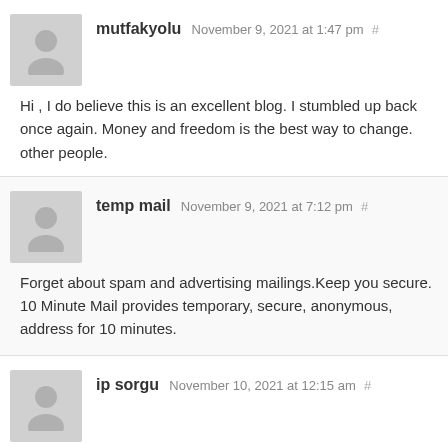mutfakyolu November 9, 2021 at 1:47 pm #
Hi , I do believe this is an excellent blog. I stumbled up back once again. Money and freedom is the best way to change. other people.
temp mail November 9, 2021 at 7:12 pm #
Forget about spam and advertising mailings.Keep you secure. 10 Minute Mail provides temporary, secure, anonymous, address for 10 minutes.
ip sorgu November 10, 2021 at 12:15 am #
ip adresleri kullanıcıların kullanarak internette gezineb numaralardan meydana gelen , internet servis sağlayıcısı tarafın